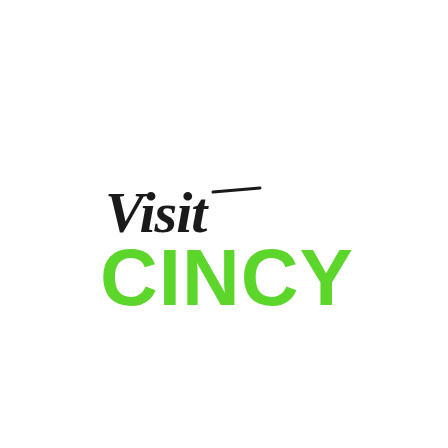[Figure (logo): Visit Cincy logo: 'Visit' in black cursive/script font above 'CINCY' in bold bright green sans-serif uppercase letters]